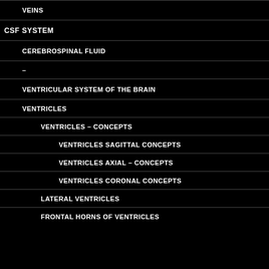VEINS
CSF SYSTEM
CEREBROSPINAL FLUID
–
VENTRICULAR SYSTEM OF THE BRAIN
VENTRICLES
VENTRICLES – CONCEPTS
VENTRICLES SAGITTAL CONCEPTS
VENTRICLES AXIAL – CONCEPTS
VENTRICLES CORONAL CONCEPTS
LATERAL VENTRICLES
FRONTAL HORNS OF VENTRICLES